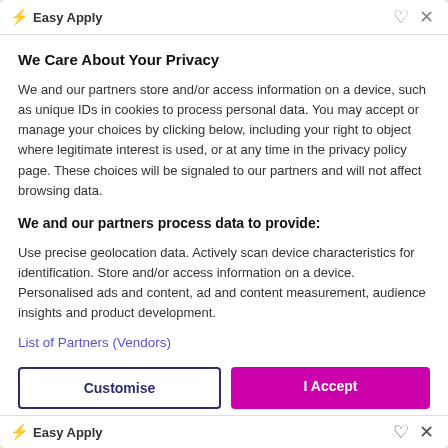⚡ Easy Apply
We Care About Your Privacy
We and our partners store and/or access information on a device, such as unique IDs in cookies to process personal data. You may accept or manage your choices by clicking below, including your right to object where legitimate interest is used, or at any time in the privacy policy page. These choices will be signaled to our partners and will not affect browsing data.
We and our partners process data to provide:
Use precise geolocation data. Actively scan device characteristics for identification. Store and/or access information on a device. Personalised ads and content, ad and content measurement, audience insights and product development.
List of Partners (Vendors)
⚡ Easy Apply